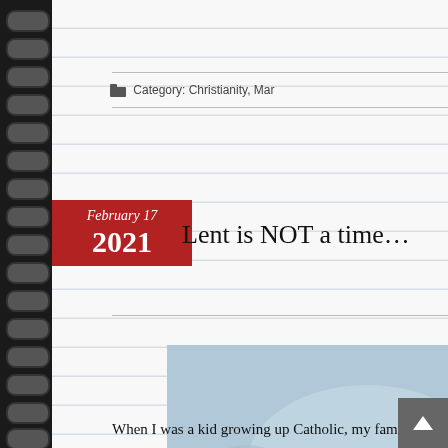Category: Christianity, Mar
Lent is NOT a time…
[Figure (photo): Person holding a takeaway box of fish and chips with a card reading 'LENT IS NOT A TIME TO SACRIFICE']
When I was a kid growing up Catholic, my family c